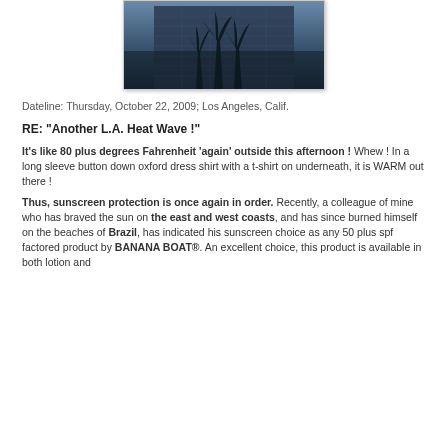[Figure (photo): Photo of a tall glass office building with palm trees reflected, taken from below against a dark sky, in Los Angeles.]
Dateline: Thursday, October 22, 2009; Los Angeles, Calif.
RE: "Another L.A. Heat Wave !"
It's like 80 plus degrees Fahrenheit 'again' outside this afternoon ! Whew ! In a long sleeve button down oxford dress shirt with a t-shirt on underneath, it is WARM out there !
Thus, sunscreen protection is once again in order. Recently, a colleague of mine who has braved the sun on the east and west coasts, and has since burned himself on the beaches of Brazil, has indicated his sunscreen choice as any 50 plus spf factored product by BANANA BOAT®. An excellent choice, this product is available in both lotion and